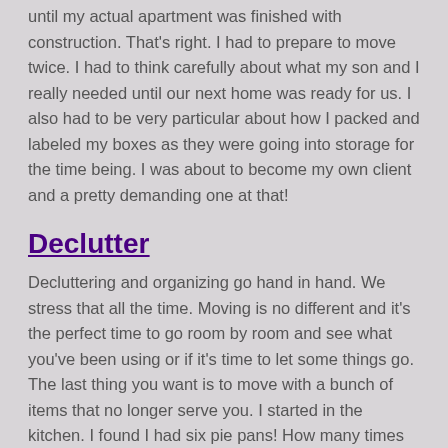until my actual apartment was finished with construction. That's right. I had to prepare to move twice. I had to think carefully about what my son and I really needed until our next home was ready for us. I also had to be very particular about how I packed and labeled my boxes as they were going into storage for the time being. I was about to become my own client and a pretty demanding one at that!
Declutter
Decluttering and organizing go hand in hand. We stress that all the time. Moving is no different and it's the perfect time to go room by room and see what you've been using or if it's time to let some things go. The last thing you want is to move with a bunch of items that no longer serve you. I started in the kitchen. I found I had six pie pans!  How many times have I baked a pie in the last year? Why do I